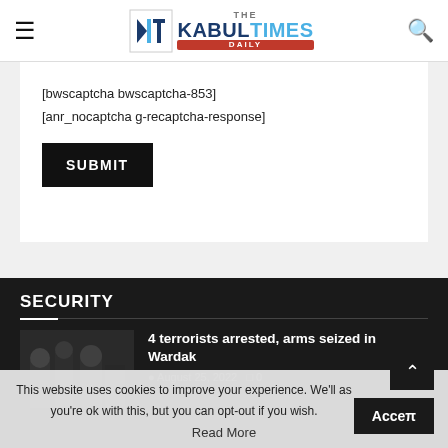The Kabul Times Daily
[bwscaptcha bwscaptcha-853]
[anr_nocaptcha g-recaptcha-response]
SUBMIT
SECURITY
4 terrorists arrested, arms seized in Wardak
August 25, 2022   0
This website uses cookies to improve your experience. We'll assume you're ok with this, but you can opt-out if you wish.
Read More